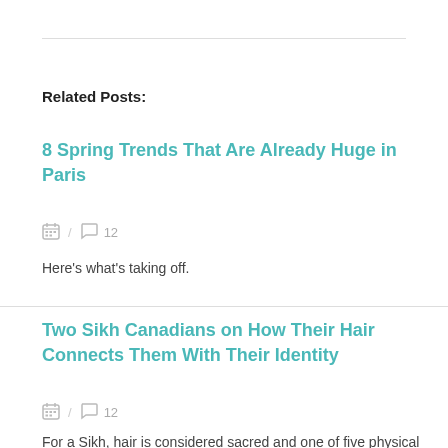Related Posts:
8 Spring Trends That Are Already Huge in Paris
/ 12
Here's what's taking off.
Two Sikh Canadians on How Their Hair Connects Them With Their Identity
/ 12
For a Sikh, hair is considered sacred and one of five physical religious symbols. Others include a stainless steel bracelet